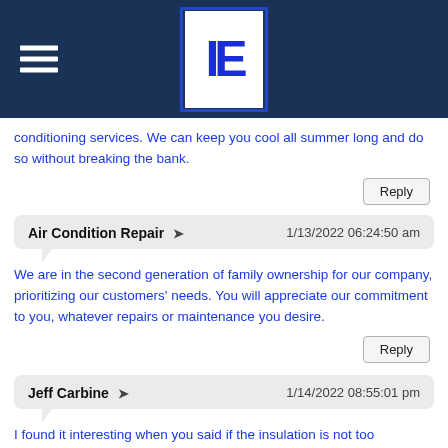IE logo with navigation hamburger menu
conditioning services. We can keep you cool all summer long and do so without breaking the bank.
Reply
Air Condition Repair → 1/13/2022 06:24:50 am
We are in the second generation of family ownership for our company, prioritizing our customers' needs. You will appreciate our commitment to you, whatever repairs or maintenance you desire.
Reply
Jeff Carbine → 1/14/2022 08:55:01 pm
I found it interesting when you said if the insulation is not too degraded, it can be fixed using electrical tape; alternatively, if you are comfortable doing so, you can replace the short part of